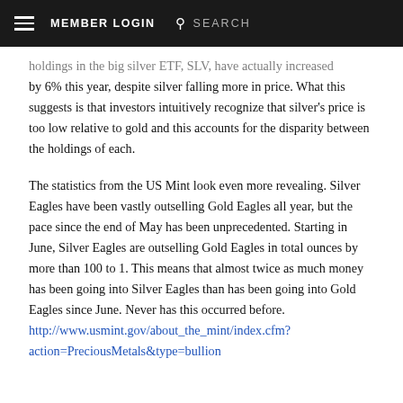≡ MEMBER LOGIN 🔍 SEARCH
holdings in the big silver ETF, SLV, have actually increased by 6% this year, despite silver falling more in price. What this suggests is that investors intuitively recognize that silver's price is too low relative to gold and this accounts for the disparity between the holdings of each.
The statistics from the US Mint look even more revealing. Silver Eagles have been vastly outselling Gold Eagles all year, but the pace since the end of May has been unprecedented. Starting in June, Silver Eagles are outselling Gold Eagles in total ounces by more than 100 to 1. This means that almost twice as much money has been going into Silver Eagles than has been going into Gold Eagles since June. Never has this occurred before. http://www.usmint.gov/about_the_mint/index.cfm?action=PreciousMetals&type=bullion